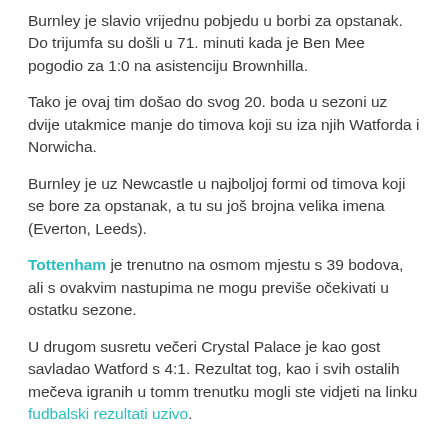Burnley je slavio vrijednu pobjedu u borbi za opstanak. Do trijumfa su došli u 71. minuti kada je Ben Mee pogodio za 1:0 na asistenciju Brownhilla.
Tako je ovaj tim došao do svog 20. boda u sezoni uz dvije utakmice manje do timova koji su iza njih Watforda i Norwicha.
Burnley je uz Newcastle u najboljoj formi od timova koji se bore za opstanak, a tu su još brojna velika imena (Everton, Leeds).
Tottenham je trenutno na osmom mjestu s 39 bodova, ali s ovakvim nastupima ne mogu previše očekivati u ostatku sezone.
U drugom susretu večeri Crystal Palace je kao gost savladao Watford s 4:1. Rezultat tog, kao i svih ostalih mečeva igranih u tomm trenutku mogli ste vidjeti na linku fudbalski rezultati uzivo.